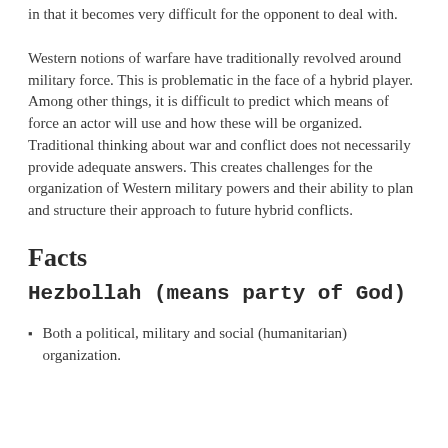in that it becomes very difficult for the opponent to deal with.
Western notions of warfare have traditionally revolved around military force. This is problematic in the face of a hybrid player. Among other things, it is difficult to predict which means of force an actor will use and how these will be organized. Traditional thinking about war and conflict does not necessarily provide adequate answers. This creates challenges for the organization of Western military powers and their ability to plan and structure their approach to future hybrid conflicts.
Facts
Hezbollah (means party of God)
Both a political, military and social (humanitarian) organization.